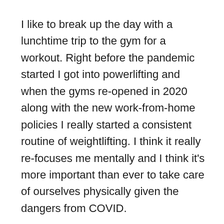I like to break up the day with a lunchtime trip to the gym for a workout. Right before the pandemic started I got into powerlifting and when the gyms re-opened in 2020 along with the new work-from-home policies I really started a consistent routine of weightlifting. I think it really re-focuses me mentally and I think it's more important than ever to take care of ourselves physically given the dangers from COVID.
Afternoons are typically a mix of video conference meetings, working on client deliverables, and prospecting new clients. Although nothing replaces